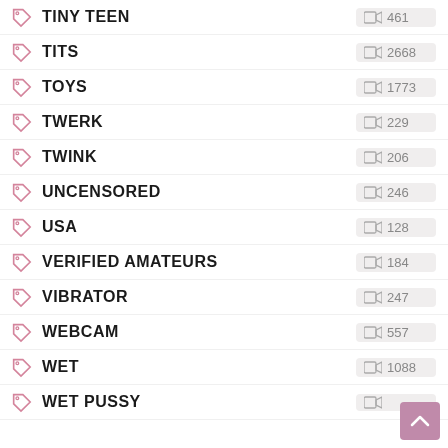TINY TEEN
TITS
TOYS
TWERK
TWINK
UNCENSORED
USA
VERIFIED AMATEURS
VIBRATOR
WEBCAM
WET
WET PUSSY